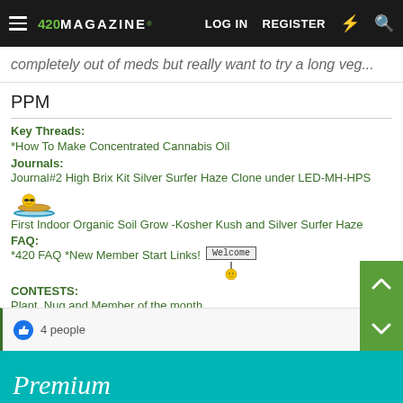420 MAGAZINE — LOG IN  REGISTER
completely out of meds but really want to try a long veg...
PPM
Key Threads:
*How To Make Concentrated Cannabis Oil
Journals:
Journal#2 High Brix Kit Silver Surfer Haze Clone under LED-MH-HPS
First Indoor Organic Soil Grow -Kosher Kush and Silver Surfer Haze
FAQ:
*420 FAQ *New Member Start Links!
CONTESTS:
Plant, Nug and Member of the month
↩ Reply
👍 4 people
Premium